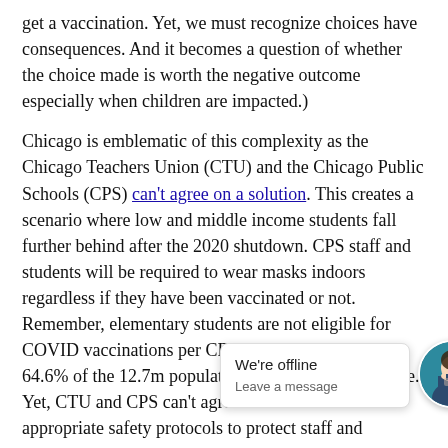get a vaccination. Yet, we must recognize choices have consequences. And it becomes a question of whether the choice made is worth the negative outcome especially when children are impacted.)
Chicago is emblematic of this complexity as the Chicago Teachers Union (CTU) and the Chicago Public Schools (CPS) can't agree on a solution. This creates a scenario where low and middle income students fall further behind after the 2020 shutdown. CPS staff and students will be required to wear masks indoors regardless if they have been vaccinated or not. Remember, elementary students are not eligible for COVID vaccinations per CDC guidelines. Illinois has 64.6% of the 12.7m population vaccinated with 1 dose. Yet, CTU and CPS can't agree on what will be the appropriate safety protocols to protect staff and students.
In North Carolina, we se... s st... displayed in a recent lo... s... state has 53.6% of the t... ith r...